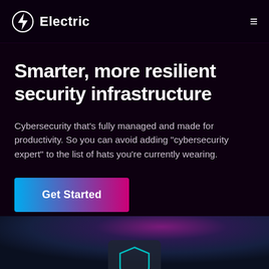Electric
Smarter, more resilient security infrastructure
Cybersecurity that's fully managed and made for productivity. So you can avoid adding "cybersecurity expert" to the list of hats you're currently wearing.
[Figure (other): Get Started button with gradient from cyan to magenta/pink]
[Figure (other): Bottom dark panel with purple-magenta radial gradient and partial shield icon at bottom center]